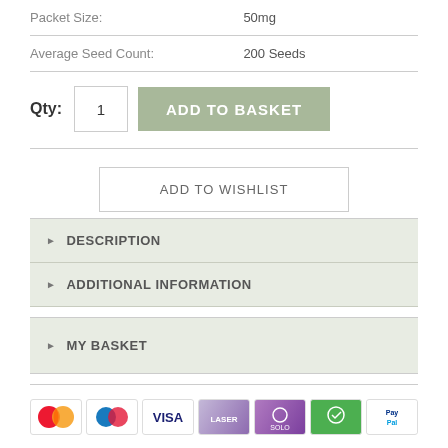|  |  |
| --- | --- |
| Packet Size: | 50mg |
| Average Seed Count: | 200 Seeds |
Qty: 1  ADD TO BASKET
ADD TO WISHLIST
DESCRIPTION
ADDITIONAL INFORMATION
MY BASKET
[Figure (infographic): Payment method icons: MasterCard, Maestro, VISA, Laser, Solo, green card, PayPal]
US
ABOUT US